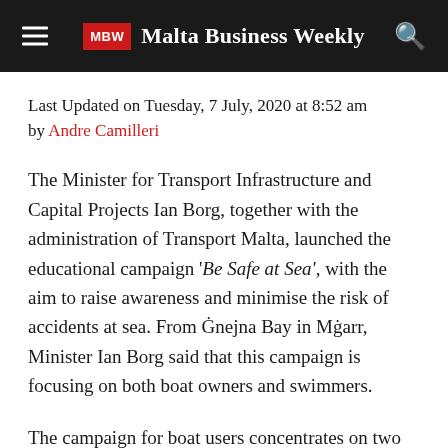MBW Malta Business Weekly
Last Updated on Tuesday, 7 July, 2020 at 8:52 am by Andre Camilleri
The Minister for Transport Infrastructure and Capital Projects Ian Borg, together with the administration of Transport Malta, launched the educational campaign 'Be Safe at Sea', with the aim to raise awareness and minimise the risk of accidents at sea. From Ġnejna Bay in Mġarr, Minister Ian Borg said that this campaign is focusing on both boat owners and swimmers.
The campaign for boat users concentrates on two aspects. The first is on speed limits, to help